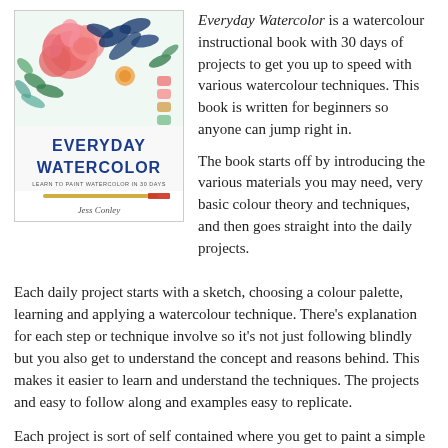[Figure (illustration): Cover of the book 'Everyday Watercolor' by Jess Conley, featuring watercolour floral painting at the top, colour swatches, and the title in bold blue text with a paintbrush illustration.]
Everyday Watercolor is a watercolour instructional book with 30 days of projects to get you up to speed with various watercolour techniques. This book is written for beginners so anyone can jump right in.

The book starts off by introducing the various materials you may need, very basic colour theory and techniques, and then goes straight into the daily projects.
Each daily project starts with a sketch, choosing a colour palette, learning and applying a watercolour technique. There's explanation for each step or technique involve so it's not just following blindly but you also get to understand the concept and reasons behind. This makes it easier to learn and understand the techniques. The projects and easy to follow along and examples easy to replicate.
Each project is sort of self contained where you get to paint a simple subject, mostly plants or animals. This is unlike other watercolor instructional books where the techniques learned are used to paint a complete painting. This book does not talk about the art fundamentals